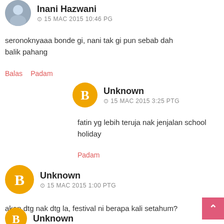[Figure (photo): User avatar photo of Inani Hazwani, small circular profile picture]
Inani Hazwani
⊙ 15 MAC 2015 10:46 PG
seronoknyaaa bonde gi, nani tak gi pun sebab dah balik pahang
Balas  Padam
[Figure (logo): Blogger orange circle icon with white B letter for Unknown user]
Unknown
⊙ 15 MAC 2015 3:25 PTG
fatin yg lebih teruja nak jenjalan school holiday
Padam
[Figure (logo): Blogger orange circle icon with white B letter for Unknown user]
Unknown
⊙ 15 MAC 2015 1:00 PTG
akan dtg nak dtg la, festival ni berapa kali setahum?
Balas  Padam
[Figure (logo): Blogger orange circle icon with white B letter for Unknown user (partial, bottom)]
Unknown